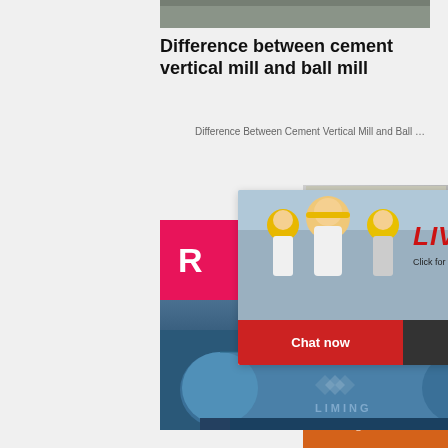[Figure (photo): Top portion of industrial photo strip]
Difference between cement vertical mill and ball mill
Difference Between Cement Vertical Mill and Ball …
[Figure (screenshot): Live chat popup with person in hard hat, LIVE CHAT text in red italic, 'Click for a Free Consultation', Chat now / Chat later buttons]
[Figure (photo): Blue cement ball mill with LIMING branding]
Cement mill - Wikipedia
[Figure (infographic): Right orange sidebar with machinery photos, Enjoy 3% discount, Click to Chat, Enquiry, limingjlmofen@sina.com]